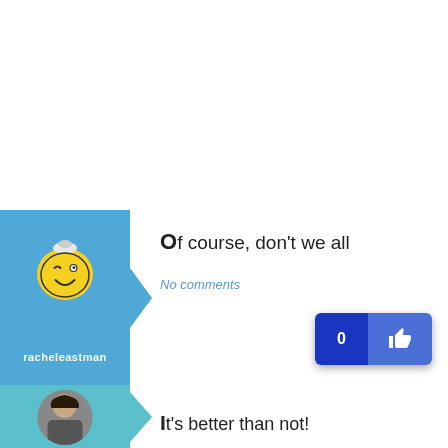Of course, don't we all
No comments
It's better than not!